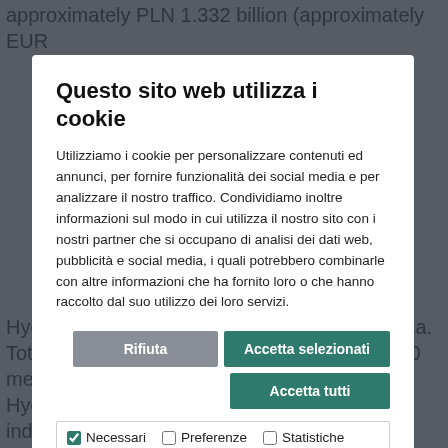approximately PLN 1.332 billion (approximately EUR
[Figure (screenshot): Cookie consent modal dialog overlay on a webpage. Title: 'Questo sito web utilizza i cookie'. Body text explains cookie usage. Buttons: 'Rifiuta', 'Accetta selezionati', 'Accetta tutti'. Checkboxes for Necessari (checked), Preferenze, Statistiche, Marketing. Dropdown: 'Mostra dettagli'.]
Hydro CIRCAL extrusion ingot in North America. Total recycling capacity for the plant is 120,000 metric tons per year. The plant will strengthen Hydro's ability to supply car makers and other industries in the U.S.